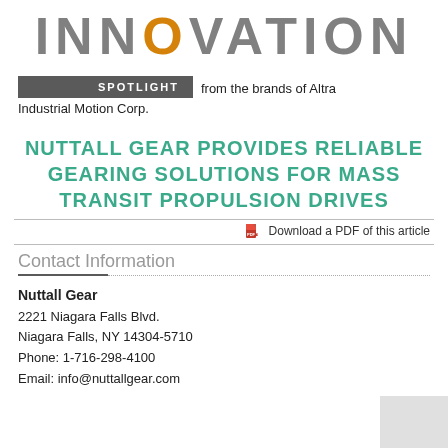INNOVATION
SPOTLIGHT from the brands of Altra Industrial Motion Corp.
NUTTALL GEAR PROVIDES RELIABLE GEARING SOLUTIONS FOR MASS TRANSIT PROPULSION DRIVES
Download a PDF of this article
Contact Information
Nuttall Gear
2221 Niagara Falls Blvd.
Niagara Falls, NY 14304-5710
Phone: 1-716-298-4100
Email: info@nuttallgear.com